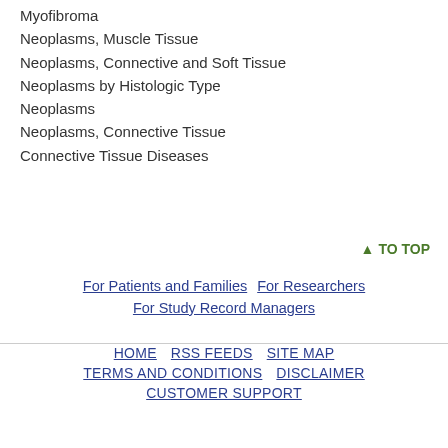Myofibroma
Neoplasms, Muscle Tissue
Neoplasms, Connective and Soft Tissue
Neoplasms by Histologic Type
Neoplasms
Neoplasms, Connective Tissue
Connective Tissue Diseases
▲ TO TOP
For Patients and Families | For Researchers | For Study Record Managers
HOME | RSS FEEDS | SITE MAP | TERMS AND CONDITIONS | DISCLAIMER | CUSTOMER SUPPORT